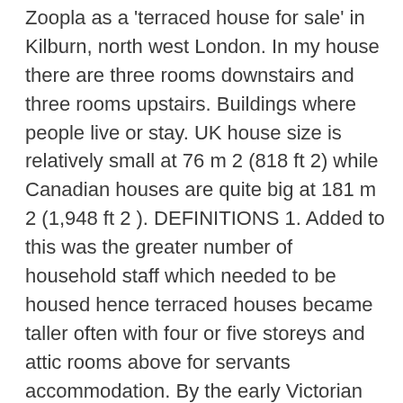Zoopla as a 'terraced house for sale' in Kilburn, north west London. In my house there are three rooms downstairs and three rooms upstairs. Buildings where people live or stay. UK house size is relatively small at 76 m 2 (818 ft 2) while Canadian houses are quite big at 181 m 2 (1,948 ft 2 ). DEFINITIONS 1. Added to this was the greater number of household staff which needed to be housed hence terraced houses became taller often with four or five storeys and attic rooms above for servants accommodation. By the early Victorian period, a terrace had come to designate any style Perhaps it is a very British thing, to want to show a smart public face, but I am inclined to think that restoring the concord of the street, by bringing the house back to its original state, is a more effective method of improving the look of the outside than making a property stand out on its own. The house has six floors with lift. 3 bed terraced house in Rochester. Terraced housing is found across